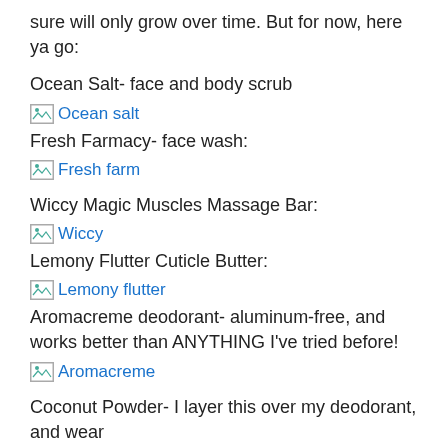sure will only grow over time. But for now, here ya go:
Ocean Salt- face and body scrub
[Figure (other): Broken image placeholder with link text 'Ocean salt']
Fresh Farmacy- face wash:
[Figure (other): Broken image placeholder with link text 'Fresh farm']
Wiccy Magic Muscles Massage Bar:
[Figure (other): Broken image placeholder with link text 'Wiccy']
Lemony Flutter Cuticle Butter:
[Figure (other): Broken image placeholder with link text 'Lemony flutter']
Aromacreme deodorant- aluminum-free, and works better than ANYTHING I've tried before!
[Figure (other): Broken image placeholder with link text 'Aromacreme']
Coconut Powder- I layer this over my deodorant, and wear